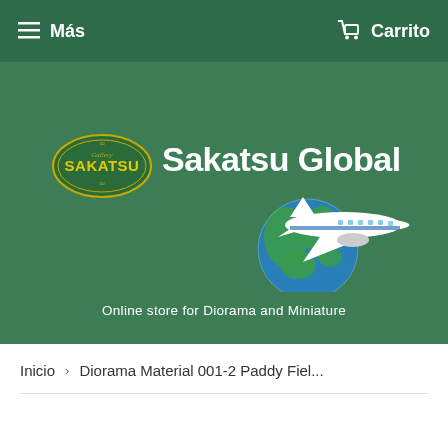Más   Carrito
[Figure (logo): Sakatsu Global online store banner with Gallery Sakatsu oval logo, 'Sakatsu Global' text, and an airplane with globe graphic on green background. Tagline: Online store for Diorama and Miniature]
Inicio > Diorama Material 001-2 Paddy Fiel...